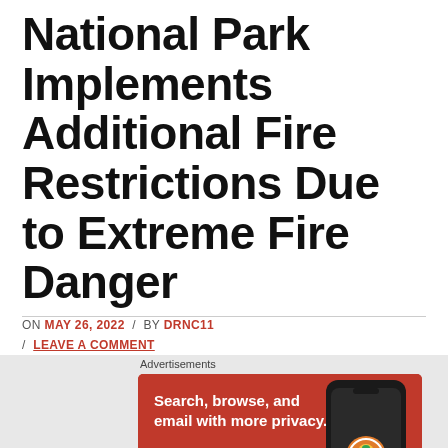National Park Implements Additional Fire Restrictions Due to Extreme Fire Danger
ON MAY 26, 2022 / BY DRNC11 / LEAVE A COMMENT
[Figure (screenshot): DuckDuckGo advertisement banner with orange/red background showing 'Search, browse, and email with more privacy. All in One Free App' with a phone mockup and DuckDuckGo logo]